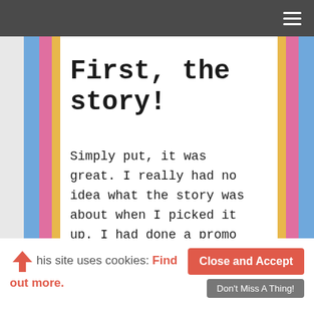Navigation bar with hamburger menu
First, the story!
Simply put, it was great. I really had no idea what the story was about when I picked it up. I had done a promo tour for this back in the fall, and from the teasers, I thought this was going to be a book about a guy who was a playboy and needed to be redeemed. I
This site uses cookies: Find out more.
Close and Accept
Don't Miss A Thing!